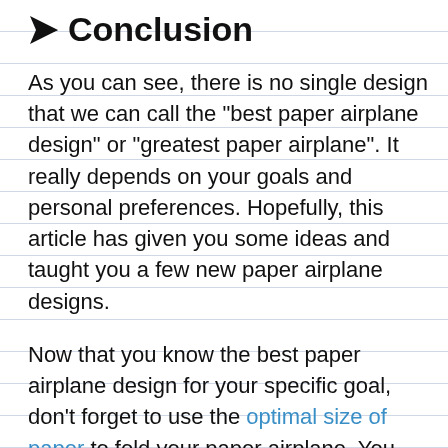Conclusion
As you can see, there is no single design that we can call the "best paper airplane design" or "greatest paper airplane". It really depends on your goals and personal preferences. Hopefully, this article has given you some ideas and taught you a few new paper airplane designs.
Now that you know the best paper airplane design for your specific goal, don't forget to use the optimal size of paper to fold your paper airplane. You may need to experiment to determine if a small or large paper airplane works best. Once you have some practice with your winning paper airplane, here are some